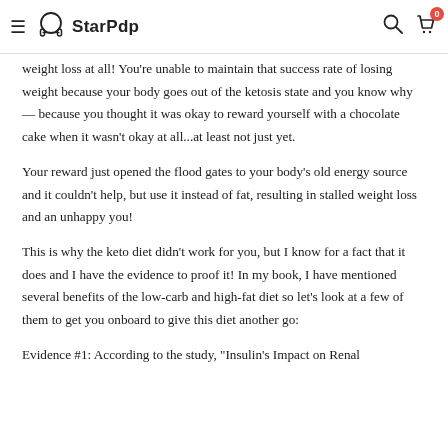≡ StarPdp [search] [cart 0]
weight loss at all! You're unable to maintain that success rate of losing weight because your body goes out of the ketosis state and you know why — because you thought it was okay to reward yourself with a chocolate cake when it wasn't okay at all...at least not just yet.

Your reward just opened the flood gates to your body's old energy source and it couldn't help, but use it instead of fat, resulting in stalled weight loss and an unhappy you!

This is why the keto diet didn't work for you, but I know for a fact that it does and I have the evidence to proof it! In my book, I have mentioned several benefits of the low-carb and high-fat diet so let's look at a few of them to get you onboard to give this diet another go:

Evidence #1: According to the study, "Insulin's Impact on Renal